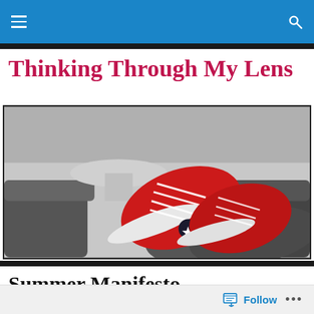Navigation bar with hamburger menu and search icon
Thinking Through My Lens
[Figure (photo): Black and white photo with color-popped red Converse sneakers resting on furniture in a lounge setting]
Summer Manifesto
Follow ...